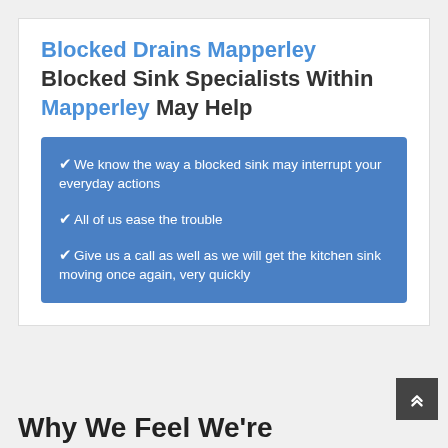Blocked Drains Mapperley Blocked Sink Specialists Within Mapperley May Help
We know the way a blocked sink may interrupt your everyday actions
All of us ease the trouble
Give us a call as well as we will get the kitchen sink moving once again, very quickly
Why We Feel We're